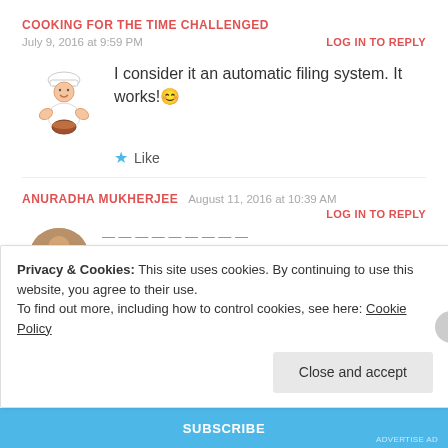COOKING FOR THE TIME CHALLENGED
July 9, 2016 at 9:59 PM
LOG IN TO REPLY
I consider it an automatic filing system. It works!😊
Like
ANURADHA MUKHERJEE  August 11, 2016 at 10:39 AM
LOG IN TO REPLY
Privacy & Cookies: This site uses cookies. By continuing to use this website, you agree to their use. To find out more, including how to control cookies, see here: Cookie Policy
Close and accept